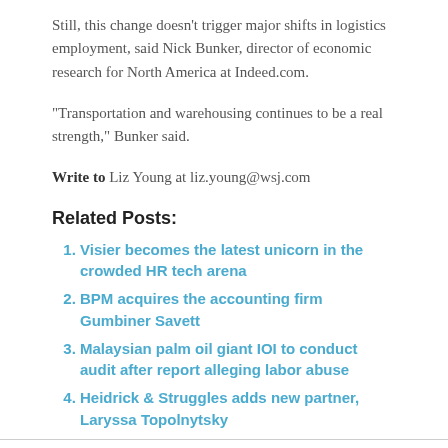Still, this change doesn't trigger major shifts in logistics employment, said Nick Bunker, director of economic research for North America at Indeed.com.
“Transportation and warehousing continues to be a real strength,” Bunker said.
Write to Liz Young at liz.young@wsj.com
Related Posts:
Visier becomes the latest unicorn in the crowded HR tech arena
BPM acquires the accounting firm Gumbiner Savett
Malaysian palm oil giant IOI to conduct audit after report alleging labor abuse
Heidrick & Struggles adds new partner, Laryssa Topolnytsky